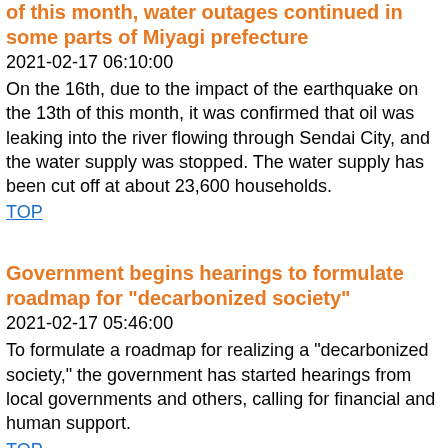of this month, water outages continued in some parts of Miyagi prefecture
2021-02-17 06:10:00
On the 16th, due to the impact of the earthquake on the 13th of this month, it was confirmed that oil was leaking into the river flowing through Sendai City, and the water supply was stopped. The water supply has been cut off at about 23,600 households.
TOP
Government begins hearings to formulate roadmap for "decarbonized society"
2021-02-17 05:46:00
To formulate a roadmap for realizing a "decarbonized society," the government has started hearings from local governments and others, calling for financial and human support.
TOP